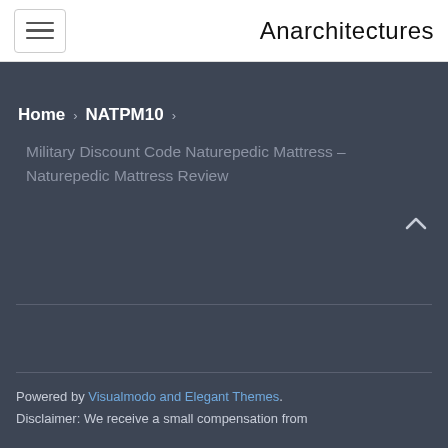Anarchitectures
Home › NATPM10 ›
Military Discount Code Naturepedic Mattress – Naturepedic Mattress Review
Powered by Visualmodo and Elegant Themes. Disclaimer: We receive a small compensation from